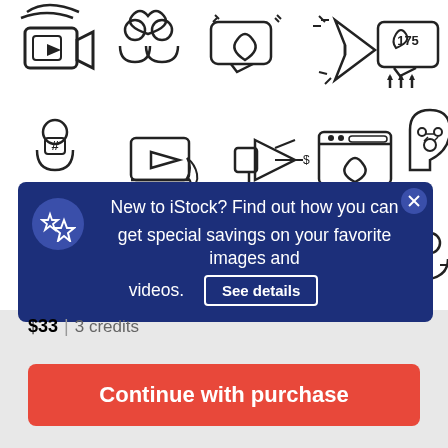[Figure (illustration): Grid of social media and marketing line icons: video camera with wifi, social sharing, messaging/likes, paper airplane, 175 heart notification, hashtag person, trending video, megaphone with dollar, web browser with heart, head with share icon, and more icons in a third row partially covered by overlay banner]
New to iStock? Find out how you can get special savings on your favorite images and videos. See details
$33 | 3 credits
Continue with purchase